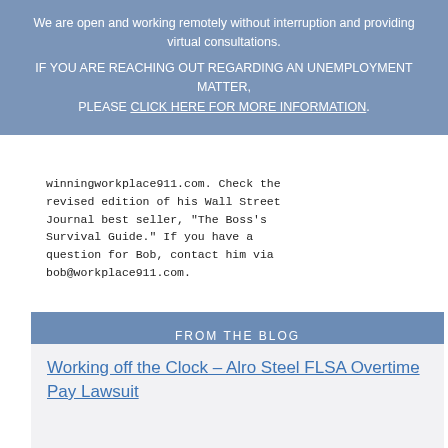We are open and working remotely without interruption and providing virtual consultations. IF YOU ARE REACHING OUT REGARDING AN UNEMPLOYMENT MATTER, PLEASE CLICK HERE FOR MORE INFORMATION.
winningworkplace911.com. Check the revised edition of his Wall Street Journal best seller, "The Boss's Survival Guide." If you have a question for Bob, contact him via bob@workplace911.com.
[Figure (infographic): Social sharing buttons: Facebook, Twitter, Email, and a Plus/share button]
FROM THE BLOG
Working off the Clock – Alro Steel FLSA Overtime Pay Lawsuit